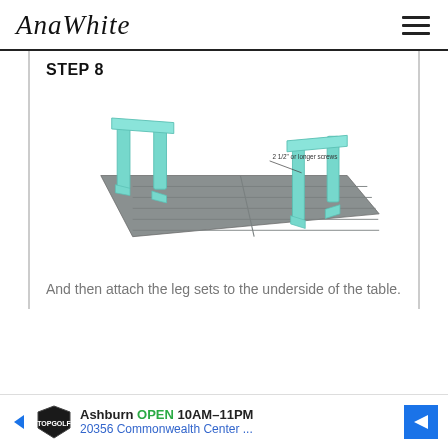AnaWhite
STEP 8
[Figure (engineering-diagram): 3D isometric illustration of a table underside with two leg sets (teal/turquoise colored A-frame style legs) attached to a gray slatted table top, viewed from above. A label arrow points to screws with text '2 1/2" or longer screws'.]
And then attach the leg sets to the underside of the table.
[Figure (other): Advertisement banner for Topgolf Ashburn: OPEN 10AM-11PM, 20356 Commonwealth Center ...]